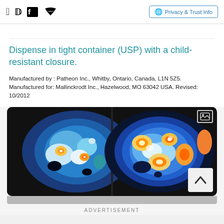Facebook icon, Twitter icon, Privacy & Trust Info
Dispense in tight container (USP) with a child-resistant closure.
Manufactured by : Patheon Inc., Whitby, Ontario, Canada, L1N 5Z5. Manufactured for: Mallinckrodt Inc., Hazelwood, MO 63042 USA. Revised: 10/2012
[Figure (photo): Two side-by-side brain SPECT scan images showing false-color heat maps of brain activity, with blues, teals, yellows, and oranges indicating different activity levels.]
ADVERTISEMENT